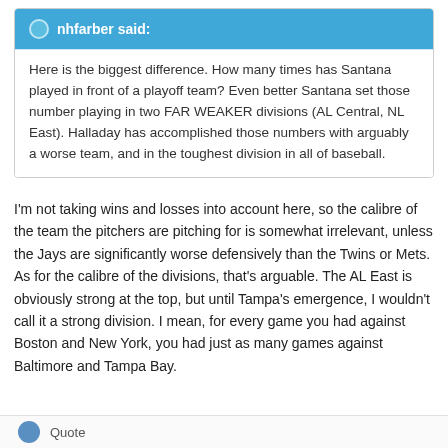nhfarber said:
Here is the biggest difference. How many times has Santana played in front of a playoff team? Even better Santana set those number playing in two FAR WEAKER divisions (AL Central, NL East). Halladay has accomplished those numbers with arguably a worse team, and in the toughest division in all of baseball.
I'm not taking wins and losses into account here, so the calibre of the team the pitchers are pitching for is somewhat irrelevant, unless the Jays are significantly worse defensively than the Twins or Mets. As for the calibre of the divisions, that's arguable. The AL East is obviously strong at the top, but until Tampa's emergence, I wouldn't call it a strong division. I mean, for every game you had against Boston and New York, you had just as many games against Baltimore and Tampa Bay.